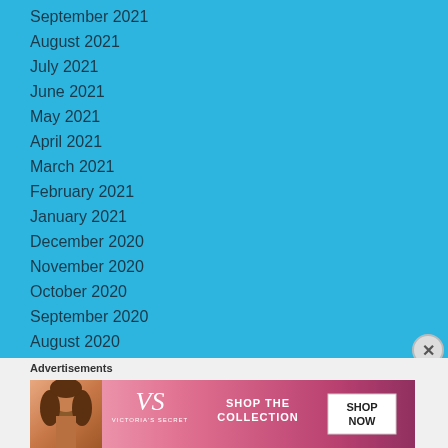September 2021
August 2021
July 2021
June 2021
May 2021
April 2021
March 2021
February 2021
January 2021
December 2020
November 2020
October 2020
September 2020
August 2020
July 2020
[Figure (illustration): Victoria's Secret advertisement banner with model, logo, 'SHOP THE COLLECTION' text and 'SHOP NOW' button]